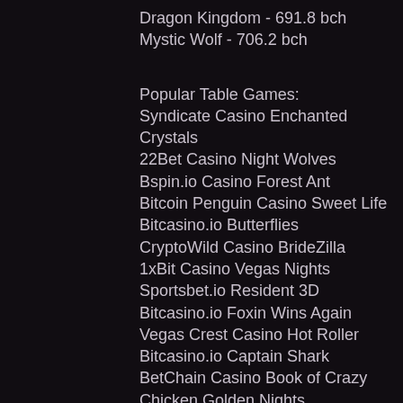Dragon Kingdom - 691.8 bch
Mystic Wolf - 706.2 bch
Popular Table Games:
Syndicate Casino Enchanted Crystals
22Bet Casino Night Wolves
Bspin.io Casino Forest Ant
Bitcoin Penguin Casino Sweet Life
Bitcasino.io Butterflies
CryptoWild Casino BrideZilla
1xBit Casino Vegas Nights
Sportsbet.io Resident 3D
Bitcasino.io Foxin Wins Again
Vegas Crest Casino Hot Roller
Bitcasino.io Captain Shark
BetChain Casino Book of Crazy Chicken Golden Nights
1xSlots Casino Doublin Gold
mBTC free bet Ultra Fresh
BitcoinCasino.us Great Wild Elk